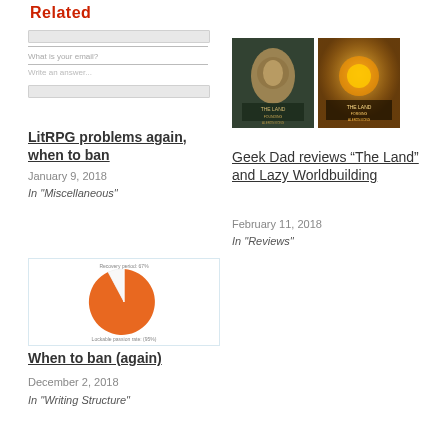Related
[Figure (screenshot): Form placeholder with input fields shown as grey bars]
LitRPG problems again, when to ban
January 9, 2018
In "Miscellaneous"
[Figure (photo): Two book covers for 'The Land' series side by side]
Geek Dad reviews “The Land” and Lazy Worldbuilding
February 11, 2018
In "Reviews"
[Figure (pie-chart): Pie chart with large orange slice, small label at top and bottom]
When to ban (again)
December 2, 2018
In "Writing Structure"